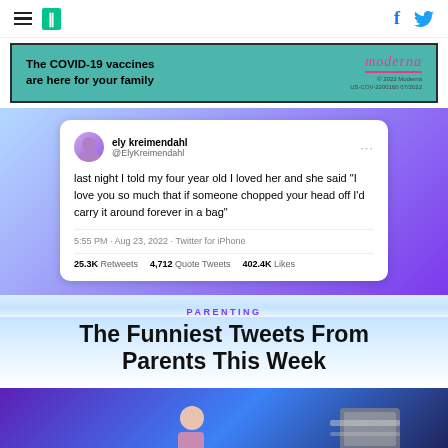HuffPost navigation with hamburger menu, logo, Facebook and Twitter icons
[Figure (infographic): Moderna COVID-19 vaccine advertisement banner: 'The COVID-19 vaccines are here for your family' with Moderna logo]
[Figure (screenshot): Tweet by @ElyKreimendahl: 'last night I told my four year old I loved her and she said "I love you so much that if someone chopped your head off I'd carry it around forever in a bag"' — 5:55 PM · Aug 23, 2022 · Twitter for iPhone — 25.3K Retweets  4,712 Quote Tweets  402.4K Likes]
PARENTING
The Funniest Tweets From Parents This Week
[Figure (photo): Purple/blue gradient background photo with a person standing holding a device, and a device shown on the right side]